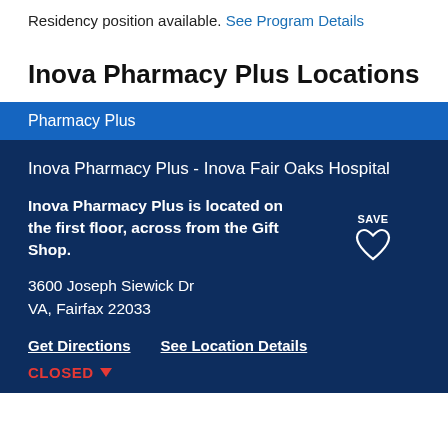Residency position available. See Program Details
Inova Pharmacy Plus Locations
Pharmacy Plus
Inova Pharmacy Plus - Inova Fair Oaks Hospital
Inova Pharmacy Plus is located on the first floor, across from the Gift Shop.
3600 Joseph Siewick Dr
VA, Fairfax 22033
Get Directions   See Location Details
CLOSED